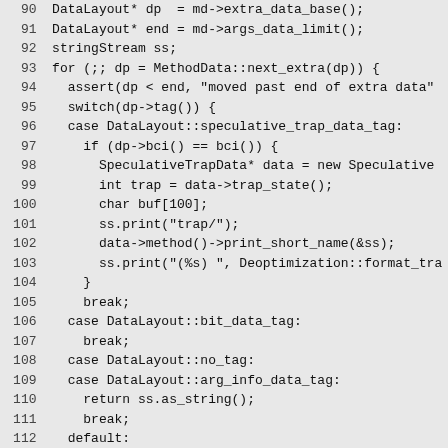Code listing lines 90-119: C++ source code snippet showing DataLayout iteration with switch cases for speculative_trap_data_tag, bit_data_tag, no_tag, arg_info_data_tag, and default, plus void ProfileData::print_data_on function signature.